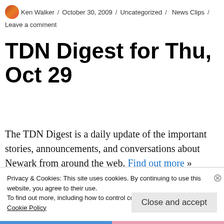Ken Walker / October 30, 2009 / Uncategorized / News Clips / Leave a comment
TDN Digest for Thu, Oct 29
The TDN Digest is a daily update of the important stories, announcements, and conversations about Newark from around the web. Find out more »
Privacy & Cookies: This site uses cookies. By continuing to use this website, you agree to their use.
To find out more, including how to control cookies, see here:
Cookie Policy